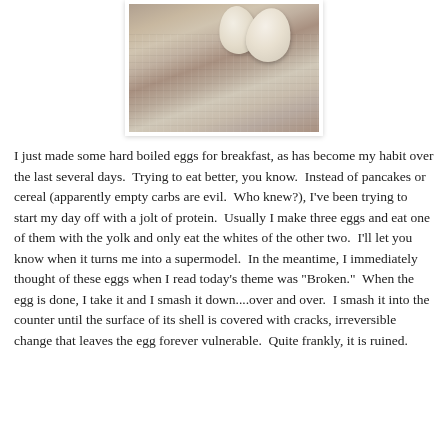[Figure (photo): Photo of eggs resting on a textured cloth or towel surface, viewed from above. Two white eggs visible, one larger in the foreground. Image has a slightly faded, warm-toned filter. Displayed in a white-framed photo card with a subtle shadow.]
I just made some hard boiled eggs for breakfast, as has become my habit over the last several days.  Trying to eat better, you know.  Instead of pancakes or cereal (apparently empty carbs are evil.  Who knew?), I've been trying to start my day off with a jolt of protein.  Usually I make three eggs and eat one of them with the yolk and only eat the whites of the other two.  I'll let you know when it turns me into a supermodel.  In the meantime, I immediately thought of these eggs when I read today's theme was "Broken."  When the egg is done, I take it and I smash it down....over and over.  I smash it into the counter until the surface of its shell is covered with cracks, irreversible change that leaves the egg forever vulnerable.  Quite frankly, it is ruined.